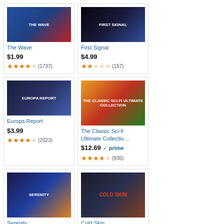[Figure (other): Product card: The Wave - movie cover]
The Wave
$1.99
★★★★☆ (1737)
[Figure (other): Product card: First Signal - movie cover]
First Signal
$4.99
★★☆☆☆ (157)
[Figure (other): Product card: Europa Report - movie cover]
Europa Report
$3.99
★★★★☆ (2023)
[Figure (other): Product card: The Classic Sci-fi Ultimate Collection - movie cover]
The Classic Sci-fi Ultimate Collectio…
$12.69 ✓prime
★★★★☆ (935)
[Figure (other): Product card: Serenity - movie cover]
Serenity
$14.99
★★★★★ (15961)
[Figure (other): Product card: Cold Skin - movie cover]
Cold Skin
$9.99
★★★★☆ (1679)
Ads by Amazon ▷
Articles You May Like